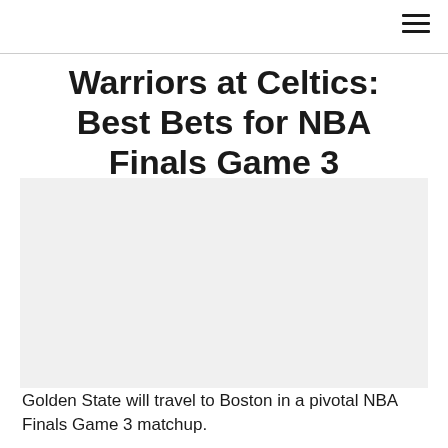Warriors at Celtics: Best Bets for NBA Finals Game 3
[Figure (photo): Large image placeholder area for article photo]
Golden State will travel to Boston in a pivotal NBA Finals Game 3 matchup.